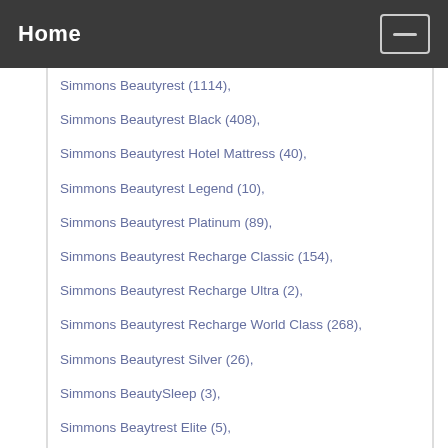Home
Simmons Beautyrest (1114),
Simmons Beautyrest Black (408),
Simmons Beautyrest Hotel Mattress (40),
Simmons Beautyrest Legend (10),
Simmons Beautyrest Platinum (89),
Simmons Beautyrest Recharge Classic (154),
Simmons Beautyrest Recharge Ultra (2),
Simmons Beautyrest Recharge World Class (268),
Simmons Beautyrest Silver (26),
Simmons BeautySleep (3),
Simmons Beaytrest Elite (5),
Simmons Comforpedic (15),
Simmons NxG (23),
Simmons Tru Energy (16),
Sleep & Beyond (2),